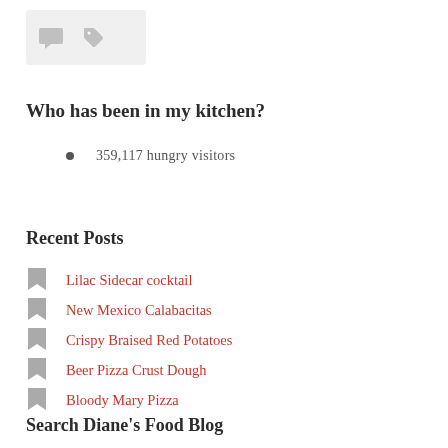[Figure (other): Gray rounded rectangle containing a comment bubble icon and a tag/link icon, both in light gray]
Who has been in my kitchen?
359,117 hungry visitors
Recent Posts
Lilac Sidecar cocktail
New Mexico Calabacitas
Crispy Braised Red Potatoes
Beer Pizza Crust Dough
Bloody Mary Pizza
Search Diane's Food Blog